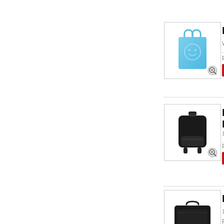[Figure (photo): Light blue tote bag with smiley face print]
RPH...
Wow... ...mo
Price
[Figure (photo): Black backpack product photo]
HAI... RUC...
16Oz... ...mo
Price
[Figure (photo): Black laptop briefcase/shoulder bag product photo]
HAI...
16Oz... ...mo
Price